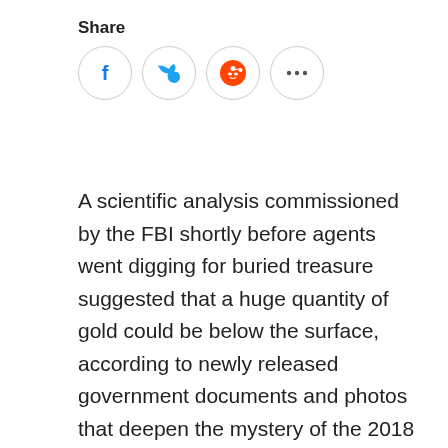Share
[Figure (other): Social share buttons: Facebook, Twitter, Reddit, and more (ellipsis) icons as circular buttons]
A scientific analysis commissioned by the FBI shortly before agents went digging for buried treasure suggested that a huge quantity of gold could be below the surface, according to newly released government documents and photos that deepen the mystery of the 2018 excavation in remote western Pennsylvania.
The report, by a geophysicist who performed microgravity testing at the site, hinted at an underground object with a mass of up to 9 tons and a density consistent with gold. The FBI used the consultant's work to obtain a warrant to seize the gold -- if there was any to be found.